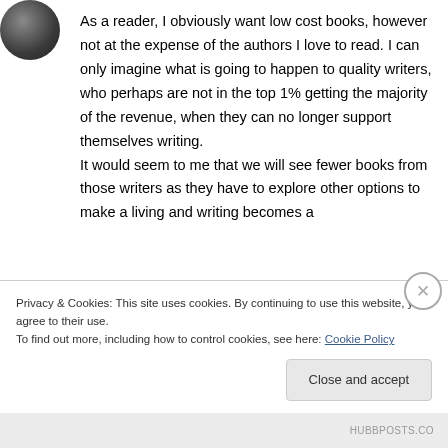[Figure (photo): Small circular avatar photo of a person, dark tones]
As a reader, I obviously want low cost books, however not at the expense of the authors I love to read. I can only imagine what is going to happen to quality writers, who perhaps are not in the top 1% getting the majority of the revenue, when they can no longer support themselves writing.
It would seem to me that we will see fewer books from those writers as they have to explore other options to make a living and writing becomes a
Privacy & Cookies: This site uses cookies. By continuing to use this website, you agree to their use.
To find out more, including how to control cookies, see here: Cookie Policy
Close and accept
HUBBPOSTS.CO